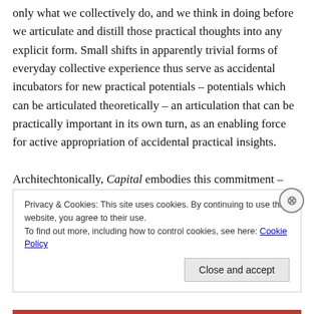only what we collectively do, and we think in doing before we articulate and distill those practical thoughts into any explicit form. Small shifts in apparently trivial forms of everyday collective experience thus serve as accidental incubators for new practical potentials – potentials which can be articulated theoretically – an articulation that can be practically important in its own turn, as an enabling force for active appropriation of accidental practical insights.

Architechtonically, Capital embodies this commitment – and this is one of the things that makes the text so very
Privacy & Cookies: This site uses cookies. By continuing to use this website, you agree to their use.
To find out more, including how to control cookies, see here: Cookie Policy